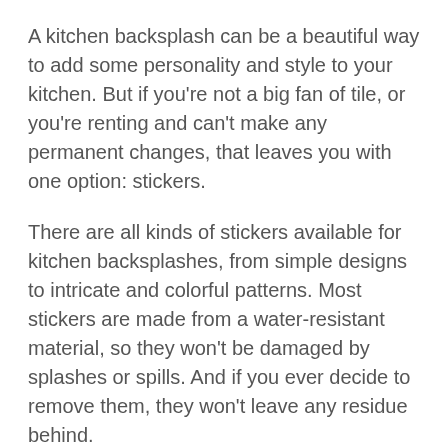A kitchen backsplash can be a beautiful way to add some personality and style to your kitchen. But if you're not a big fan of tile, or you're renting and can't make any permanent changes, that leaves you with one option: stickers.
There are all kinds of stickers available for kitchen backsplashes, from simple designs to intricate and colorful patterns. Most stickers are made from a water-resistant material, so they won't be damaged by splashes or spills. And if you ever decide to remove them, they won't leave any residue behind.
If you're looking for a simple, no-fuss way to add a splash of color or personality to your kitchen,